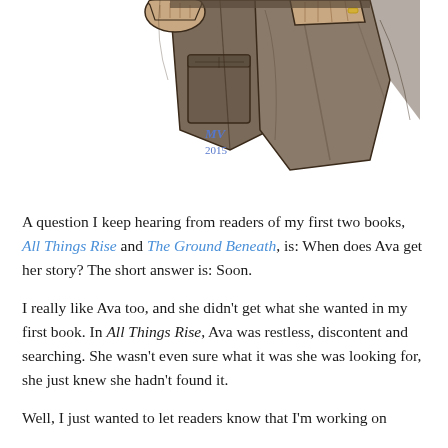[Figure (illustration): Digital illustration of a person's lower body wearing brown cargo pants and boots, pointing downward with both hands. Signed 'MV 2015' in blue text on the left side.]
A question I keep hearing from readers of my first two books, All Things Rise and The Ground Beneath, is: When does Ava get her story? The short answer is: Soon.
I really like Ava too, and she didn't get what she wanted in my first book. In All Things Rise, Ava was restless, discontent and searching. She wasn't even sure what it was she was looking for, she just knew she hadn't found it.
Well, I just wanted to let readers know that I'm working on